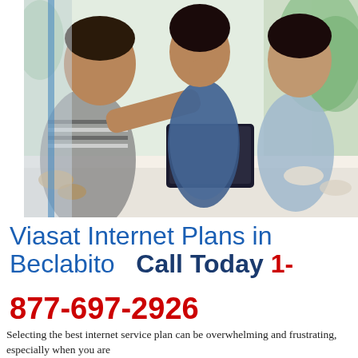[Figure (photo): Family of three — a man in a striped shirt, a woman in a blue dotted top, and a boy — sitting at a white table, laughing and looking at a tablet device. Green foliage visible in background.]
Viasat Internet Plans in Beclabito    Call Today 1-877-697-2926
Selecting the best internet service plan can be overwhelming and frustrating, especially when you are